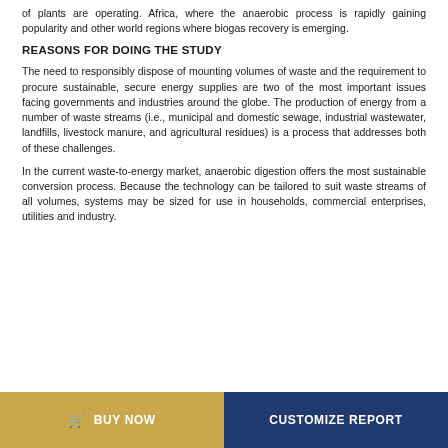of plants are operating. Africa, where the anaerobic process is rapidly gaining popularity and other world regions where biogas recovery is emerging.
REASONS FOR DOING THE STUDY
The need to responsibly dispose of mounting volumes of waste and the requirement to procure sustainable, secure energy supplies are two of the most important issues facing governments and industries around the globe. The production of energy from a number of waste streams (i.e., municipal and domestic sewage, industrial wastewater, landfills, livestock manure, and agricultural residues) is a process that addresses both of these challenges.
In the current waste-to-energy market, anaerobic digestion offers the most sustainable conversion process. Because the technology can be tailored to suit waste streams of all volumes, systems may be sized for use in households, commercial enterprises, utilities and industry.
BUY NOW   CUSTOMIZE REPORT